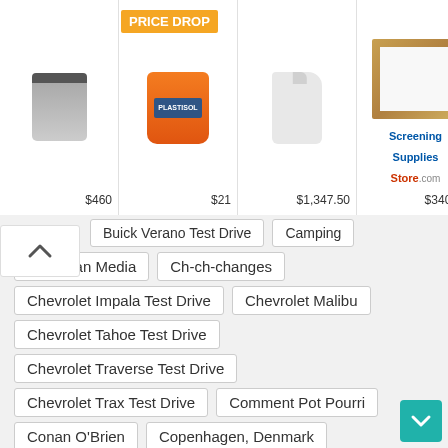[Figure (screenshot): E-commerce product ad strip showing 4 products with prices: $460, $21, $1,347.50, $340.40. Second product has PRICE DROP badge. Fourth is a Screening Supplies Store.com ad.]
Buick Verano Test Drive
Camping
Canadian Media
Ch-ch-changes
Chevrolet Impala Test Drive
Chevrolet Malibu
Chevrolet Tahoe Test Drive
Chevrolet Traverse Test Drive
Chevrolet Trax Test Drive
Comment Pot Pourri
Conan O'Brien
Copenhagen, Denmark
COVID-19
Custom
Dating Game
Dodgeball
Dublin, Ireland
East Coast Adventure
Edge 102 ~ CFNY
Entrepreneurship
F-150 SVT Raptor Test Drive